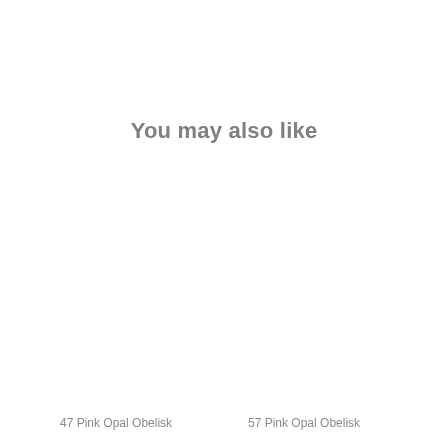You may also like
47 Pink Opal Obelisk
57 Pink Opal Obelisk